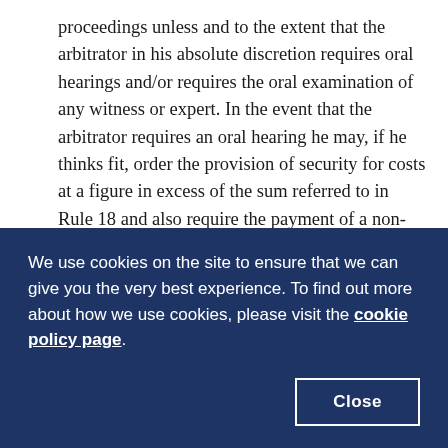proceedings unless and to the extent that the arbitrator in his absolute discretion requires oral hearings and/or requires the oral examination of any witness or expert. In the event that the arbitrator requires an oral hearing he may, if he thinks fit, order the provision of security for costs at a figure in excess of the sum referred to in Rule 18 and also require the payment of a non-returnable booking fee for each day reserved for the hearing.
18. The arbitrator shall have the power to order any party
We use cookies on the site to ensure that we can give you the very best experience. To find out more about how we use cookies, please visit the cookie policy page.